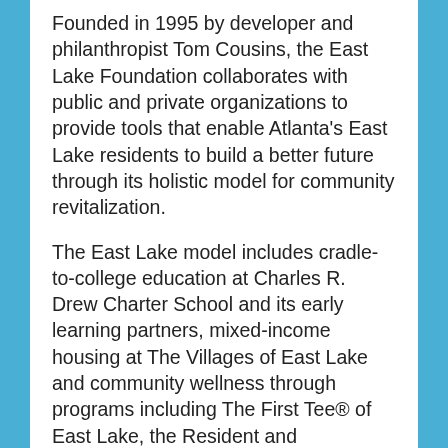Founded in 1995 by developer and philanthropist Tom Cousins, the East Lake Foundation collaborates with public and private organizations to provide tools that enable Atlanta's East Lake residents to build a better future through its holistic model for community revitalization.
The East Lake model includes cradle-to-college education at Charles R. Drew Charter School and its early learning partners, mixed-income housing at The Villages of East Lake and community wellness through programs including The First Tee® of East Lake, the Resident and Community Support Program, Start ME: East Lake micro-entrepreneur program and East Lake Healthy Connections. This approach to building a strong community not only helps break the intergenerational cycle of poverty, but creates a place where people of all ages and incomes choose to live.
East Lake has become a national model for holistic community redevelopment across the country through